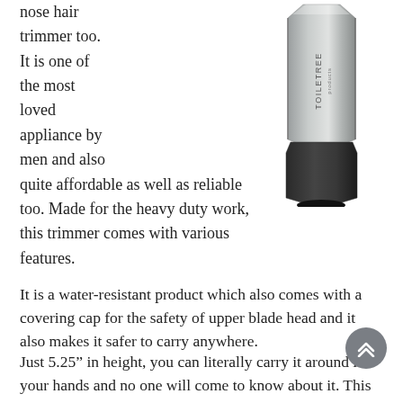nose hair trimmer too. It is one of the most loved appliance by men and also quite affordable as well as reliable too. Made for the heavy duty work, this trimmer comes with various features.
[Figure (photo): A silver and black nose hair trimmer branded 'Toiletree' standing upright against a white background.]
It is a water-resistant product which also comes with a covering cap for the safety of upper blade head and it also makes it safer to carry anywhere.
Just 5.25” in height, you can literally carry it around in your hands and no one will come to know about it. This lightweight trimmer produces the least sound possible